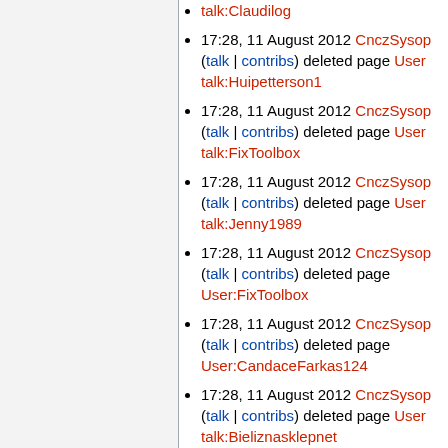talk:Claudilog
17:28, 11 August 2012 CnczSysop (talk | contribs) deleted page User talk:Huipetterson1
17:28, 11 August 2012 CnczSysop (talk | contribs) deleted page User talk:FixToolbox
17:28, 11 August 2012 CnczSysop (talk | contribs) deleted page User talk:Jenny1989
17:28, 11 August 2012 CnczSysop (talk | contribs) deleted page User:FixToolbox
17:28, 11 August 2012 CnczSysop (talk | contribs) deleted page User:CandaceFarkas124
17:28, 11 August 2012 CnczSysop (talk | contribs) deleted page User talk:Bieliznasklepnet
17:28, 11 August 2012 CnczSysop